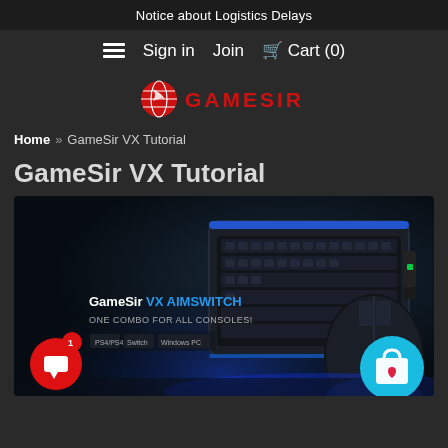Notice about Logistics Delays
≡  Sign in  Join  🛒 Cart (0)
[Figure (logo): GameSir logo with red globe icon and red uppercase GAMESIR text]
Home » GameSir VX Tutorial
GameSir VX Tutorial
[Figure (photo): Product photo of GameSir VX AimSwitch keyboard and mouse combo against dark background with blue lighting. Text on image: 'GameSir VX AIMSWITCH ONE COMBO FOR ALL CONSOLES!' with PS4/PS4 Pro, Switch, and Windows PC compatibility icons. Red chat bubble icon bottom-left with notification badge, blue shopping cart circle bottom-right.]